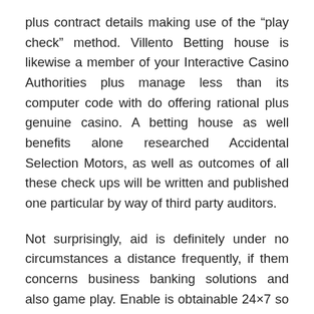plus contract details making use of the "play check" method. Villento Betting house is likewise a member of your Interactive Casino Authorities plus manage less than its computer code with do offering rational plus genuine casino. A betting house as well benefits alone researched Accidental Selection Motors, as well as outcomes of all these check ups will be written and published one particular by way of third party auditors.
Not surprisingly, aid is definitely under no circumstances a distance frequently, if them concerns business banking solutions and also game play. Enable is obtainable 24×7 so that you can respond to every problems game enthusiasts likely have. Over-all, Villento Betting house is definitely a different superb betting house with the